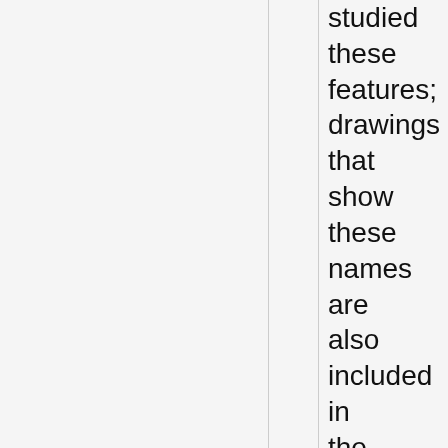studied these features; drawings that show these names are also included in the pertinent Transactions